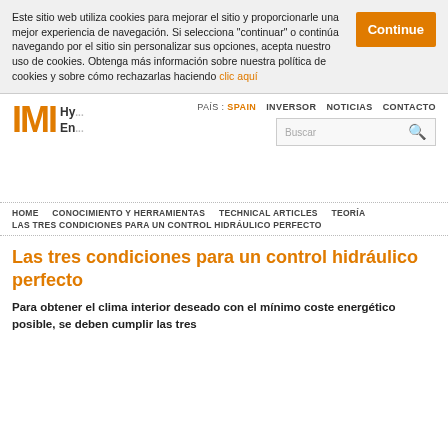Este sitio web utiliza cookies para mejorar el sitio y proporcionarle una mejor experiencia de navegación. Si selecciona "continuar" o continúa navegando por el sitio sin personalizar sus opciones, acepta nuestro uso de cookies. Obtenga más información sobre nuestra política de cookies y sobre cómo rechazarlas haciendo clic aquí
Continue
[Figure (logo): IMI Hydronic Engineering logo with orange IMI letters and black text Hy... Eng...]
PAÍS : SPAIN   INVERSOR   NOTICIAS   CONTACTO
Buscar
HOME   CONOCIMIENTO Y HERRAMIENTAS   TECHNICAL ARTICLES   TEORÍA
LAS TRES CONDICIONES PARA UN CONTROL HIDRÁULICO PERFECTO
Las tres condiciones para un control hidráulico perfecto
Para obtener el clima interior deseado con el mínimo coste energético posible, se deben cumplir las tres